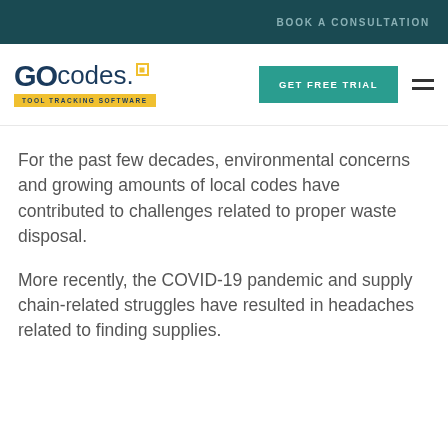BOOK A CONSULTATION
[Figure (logo): GoCodes Tool Tracking Software logo with yellow square icon and yellow subtitle banner]
GET FREE TRIAL
For the past few decades, environmental concerns and growing amounts of local codes have contributed to challenges related to proper waste disposal.
More recently, the COVID-19 pandemic and supply chain-related struggles have resulted in headaches related to finding supplies.